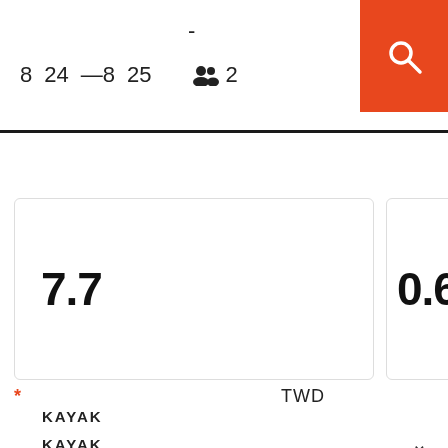- 8 24 —8 25 👥 2
[Figure (other): Orange search button with magnifying glass icon in top right corner]
7.7
0.6
* TWD
KAYAK
KAYAK ✓